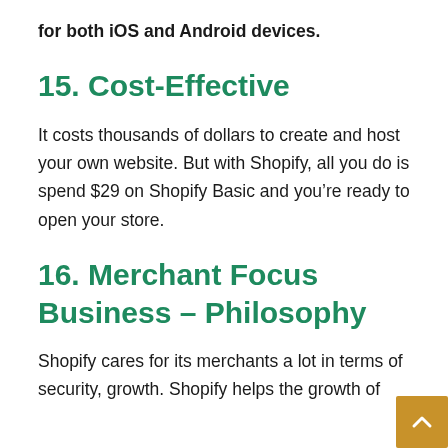for both iOS and Android devices.
15. Cost-Effective
It costs thousands of dollars to create and host your own website. But with Shopify, all you do is spend $29 on Shopify Basic and you’re ready to open your store.
16. Merchant Focus Business – Philosophy
Shopify cares for its merchants a lot in terms of security, growth. Shopify helps the growth of